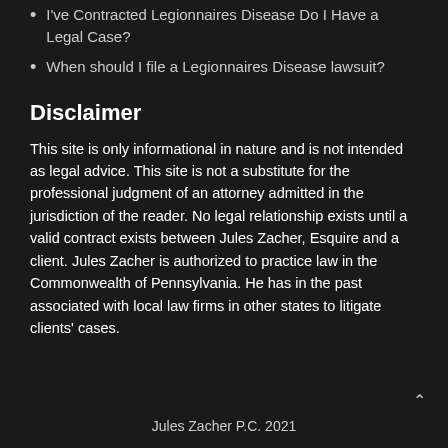I've Contracted Legionnaires Disease Do I Have a Legal Case?
When should I file a Legionnaires Disease lawsuit?
Disclaimer
This site is only informational in nature and is not intended as legal advice. This site is not a substitute for the professional judgment of an attorney admitted in the jurisdiction of the reader. No legal relationship exists until a valid contract exists between Jules Zacher, Esquire and a client. Jules Zacher is authorized to practice law in the Commonwealth of Pennsylvania. He has in the past associated with local law firms in other states to litigate clients' cases.
Jules Zacher P.C. 2021